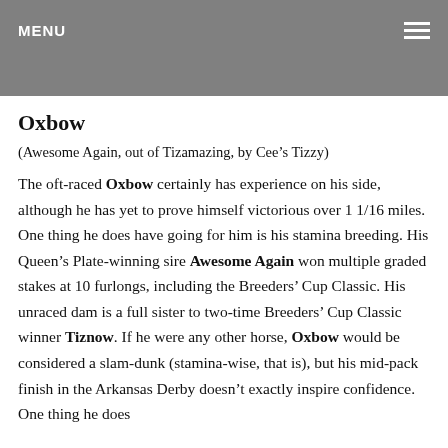MENU
Oxbow
(Awesome Again, out of Tizamazing, by Cee’s Tizzy)
The oft-raced Oxbow certainly has experience on his side, although he has yet to prove himself victorious over 1 1/16 miles. One thing he does have going for him is his stamina breeding. His Queen’s Plate-winning sire Awesome Again won multiple graded stakes at 10 furlongs, including the Breeders’ Cup Classic. His unraced dam is a full sister to two-time Breeders’ Cup Classic winner Tiznow. If he were any other horse, Oxbow would be considered a slam-dunk (stamina-wise, that is), but his mid-pack finish in the Arkansas Derby doesn’t exactly inspire confidence. One thing he does